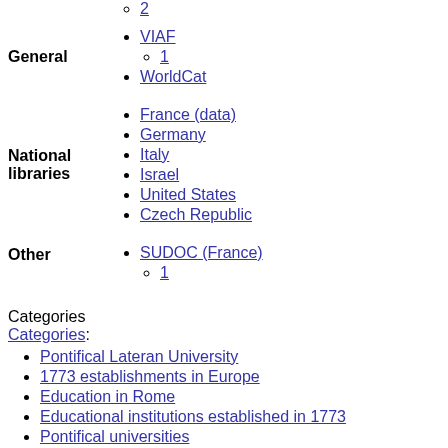2
General: VIAF, 1, WorldCat
National libraries: France (data), Germany, Italy, Israel, United States, Czech Republic
Other: SUDOC (France), 1
Categories
Categories:
Pontifical Lateran University
1773 establishments in Europe
Education in Rome
Educational institutions established in 1773
Pontifical universities
Catholic universities and colleges in Italy